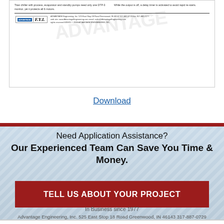[Figure (other): Preview of an Advantage Engineering FYI document showing two columns of text about Titan chiller with process, evaporator and standby pumps needing only one DTP-3 monitor protecting all 6 motors, and a delay timer activated to avoid rapid re-starts. Footer shows Advantage Engineering Inc. logo and contact info.]
Download
Need Application Assistance?
Our Experienced Team Can Save You Time & Money.
TELL US ABOUT YOUR PROJECT
In Business since 1977
Advantage Engineering, Inc. 525 East Stop 18 Road Greenwood, IN 46143 317-887-0729